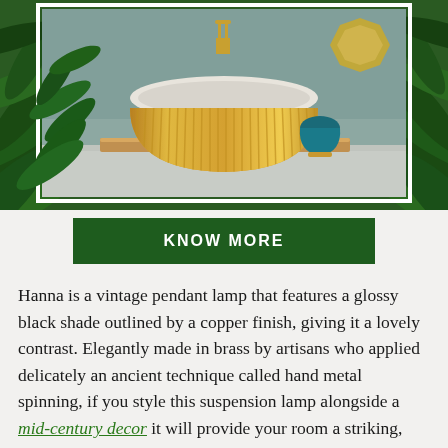[Figure (photo): Luxury bathroom scene featuring a round gold bathtub with vertical brass rod detailing, surrounded by tropical green plants, on a wooden shelf with a teal vase and geometric gold mirror in the background. The scene is framed with a white border against a dark green background with tropical leaf borders.]
KNOW MORE
Hanna is a vintage pendant lamp that features a glossy black shade outlined by a copper finish, giving it a lovely contrast. Elegantly made in brass by artisans who applied delicately an ancient technique called hand metal spinning, if you style this suspension lamp alongside a mid-century decor it will provide your room a striking, elegant look. Hanna pendant lighting brings together a visually appealing aluminum bell lamp shade